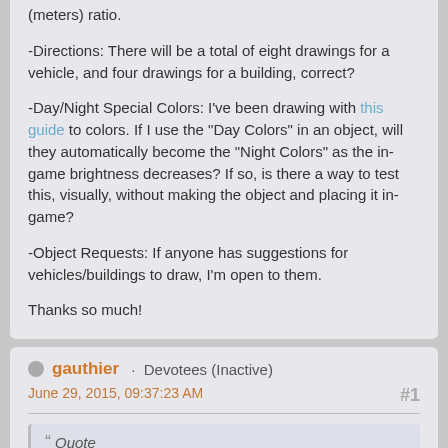(meters) ratio.

-Directions: There will be a total of eight drawings for a vehicle, and four drawings for a building, correct?

-Day/Night Special Colors: I've been drawing with this guide to colors. If I use the "Day Colors" in an object, will they automatically become the "Night Colors" as the in-game brightness decreases? If so, is there a way to test this, visually, without making the object and placing it in-game?

-Object Requests: If anyone has suggestions for vehicles/buildings to draw, I'm open to them.

Thanks so much!
gauthier · Devotees (Inactive)
June 29, 2015, 09:37:23 AM
#1
Quote